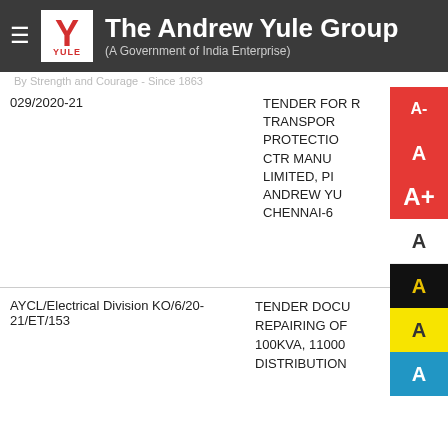The Andrew Yule Group (A Government of India Enterprise) By Strength and Courage - Since 1863
029/2020-21
TENDER FOR R TRANSPOR PROTECTIO CTR MANU LIMITED, PI ANDREW YU CHENNAI-6
AYCL/Electrical Division KO/6/20-21/ET/153
TENDER DOCU REPAIRING OF 100KVA, 11000 DISTRIBUTION